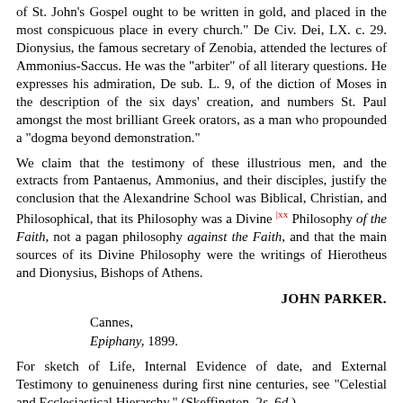of St. John's Gospel ought to be written in gold, and placed in the most conspicuous place in every church." De Civ. Dei, LX. c. 29. Dionysius, the famous secretary of Zenobia, attended the lectures of Ammonius-Saccus. He was the "arbiter" of all literary questions. He expresses his admiration, De sub. L. 9, of the diction of Moses in the description of the six days' creation, and numbers St. Paul amongst the most brilliant Greek orators, as a man who propounded a "dogma beyond demonstration."
We claim that the testimony of these illustrious men, and the extracts from Pantaenus, Ammonius, and their disciples, justify the conclusion that the Alexandrine School was Biblical, Christian, and Philosophical, that its Philosophy was a Divine [xx] Philosophy of the Faith, not a pagan philosophy against the Faith, and that the main sources of its Divine Philosophy were the writings of Hierotheus and Dionysius, Bishops of Athens.
JOHN PARKER.
Cannes, Epiphany, 1899.
For sketch of Life, Internal Evidence of date, and External Testimony to genuineness during first nine centuries, see "Celestial and Ecclesiastical Hierarchy." (Skeffington, 2s. 6d.)